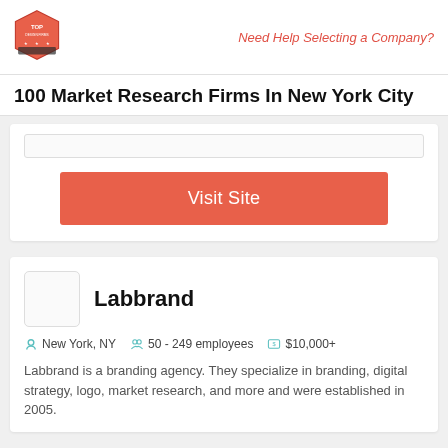Top Design Firms logo | Need Help Selecting a Company?
100 Market Research Firms In New York City
[Figure (other): Search bar placeholder]
Visit Site
Labbrand
New York, NY   50 - 249 employees   $10,000+
Labbrand is a branding agency. They specialize in branding, digital strategy, logo, market research, and more and were established in 2005.